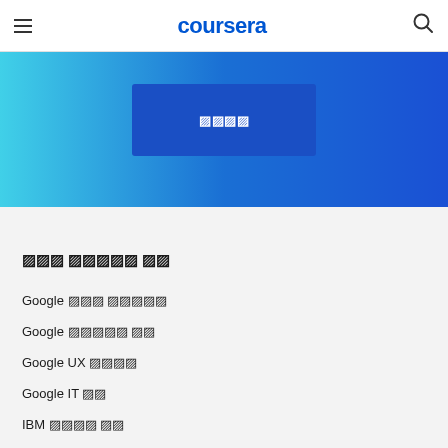coursera
[Figure (screenshot): Coursera hero banner with blue gradient background and a dark blue button with unrenderable CJK characters]
인기 프로그램 목록 (rendered as tofu boxes)
Google 데이터 애널리틱스
Google 프로젝트 관리
Google UX 디자인
Google IT 지원
IBM 데이터 사이언스
IBM 사이버 보안